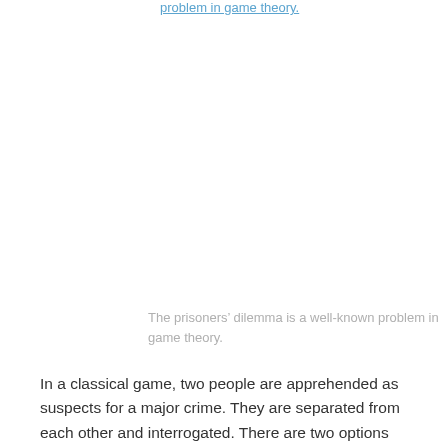problem in game theory.
The prisoners’ dilemma is a well-known problem in game theory.
In a classical game, two people are apprehended as suspects for a major crime. They are separated from each other and interrogated. There are two options available to each of the two suspects. Each can either confess, thereby implicating the other, or keep silent. No matter what the other suspect does, each can improve his own position by confessing. If the other confesses, then one had better do the same to